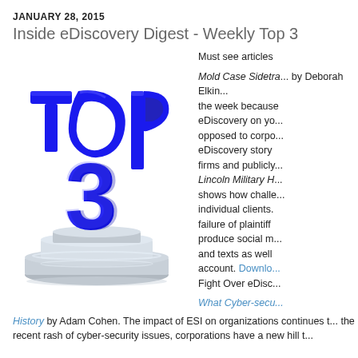JANUARY 28, 2015
Inside eDiscovery Digest - Weekly Top 3
[Figure (photo): 3D blue 'TOP 3' text on a silver trophy pedestal/platform]
Must see articles

Mold Case Sidetra... by Deborah Elkin... the week because eDiscovery on yo... opposed to corpo... eDiscovery story firms and publicly... Lincoln Military H... shows how challe... individual clients. failure of plaintiff produce social m... and texts as well account. Downlo... Fight Over eDisc...

What Cyber-secu...
History by Adam Cohen. The impact of ESI on organizations continues t... the recent rash of cyber-security issues, corporations have a new hill t...